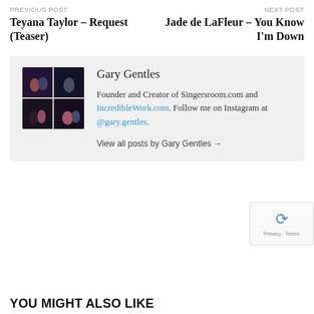PREVIOUS POST
Teyana Taylor – Request (Teaser)
NEXT POST
Jade de LaFleur – You Know I'm Down
[Figure (photo): 2x2 grid of photos showing Gary Gentles with various people at events]
Gary Gentles
Founder and Creator of Singersroom.com and IncredibleWork.com. Follow me on Instagram at @gary.gentles.
View all posts by Gary Gentles →
YOU MIGHT ALSO LIKE